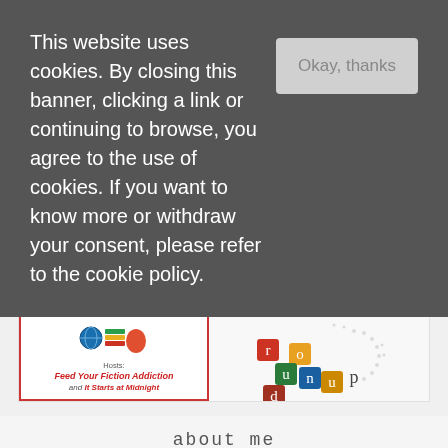This website uses cookies. By closing this banner, clicking a link or continuing to browse, you agree to the use of cookies. If you want to know more or withdraw your consent, please refer to the cookie policy.
[Figure (screenshot): Cookie consent banner with dismiss button labeled 'Okay, thanks' on dark gray background]
[Figure (illustration): Two promotional banner images side by side: left shows colorful icons with text 'Hosts: Feed Your Fiction Addiction and It Starts at Midnight', right shows stylized letters spelling 'round up' on dotted background]
about me
[Figure (photo): Portrait photo of a woman with purple hair and glasses, smiling, outdoors with green trees in background]